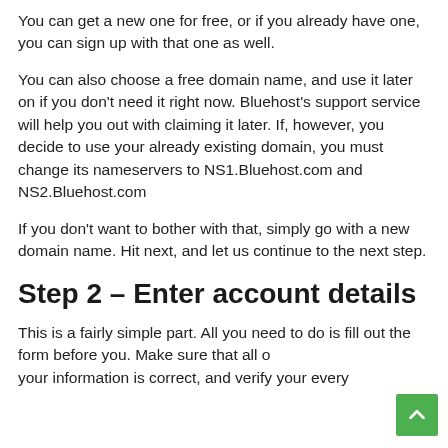You can get a new one for free, or if you already have one, you can sign up with that one as well.
You can also choose a free domain name, and use it later on if you don't need it right now. Bluehost's support service will help you out with claiming it later. If, however, you decide to use your already existing domain, you must change its nameservers to NS1.Bluehost.com and NS2.Bluehost.com
If you don't want to bother with that, simply go with a new domain name. Hit next, and let us continue to the next step.
Step 2 – Enter account details
This is a fairly simple part. All you need to do is fill out the form before you. Make sure that all of your information is correct, and verify your every